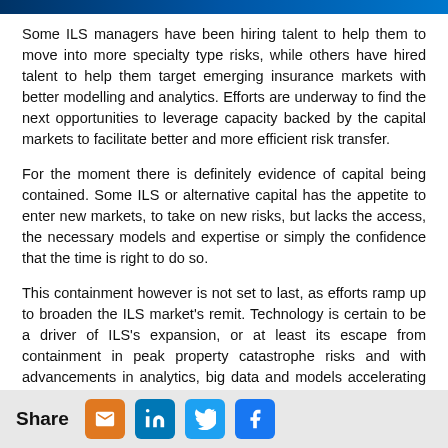Some ILS managers have been hiring talent to help them to move into more specialty type risks, while others have hired talent to help them target emerging insurance markets with better modelling and analytics. Efforts are underway to find the next opportunities to leverage capacity backed by the capital markets to facilitate better and more efficient risk transfer.
For the moment there is definitely evidence of capital being contained. Some ILS or alternative capital has the appetite to enter new markets, to take on new risks, but lacks the access, the necessary models and expertise or simply the confidence that the time is right to do so.
This containment however is not set to last, as efforts ramp up to broaden the ILS market's remit. Technology is certain to be a driver of ILS's expansion, or at least its escape from containment in peak property catastrophe risks and with advancements in analytics, big data and models accelerating rapidly it may not be as long as some people think before
Share